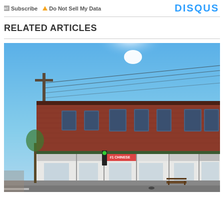Subscribe  Do Not Sell My Data   DISQUS
RELATED ARTICLES
[Figure (photo): Street-level photo of a red brick commercial building with shops on the ground floor including a Chinese restaurant, under a bright blue sky with power lines visible.]